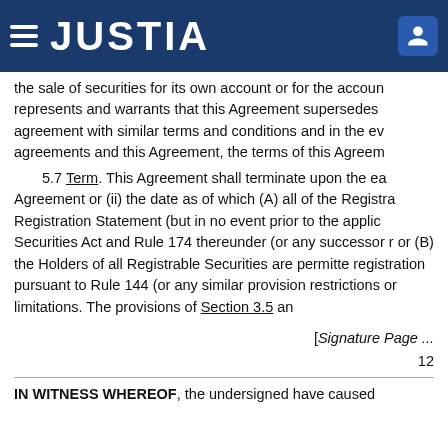JUSTIA
the sale of securities for its own account or for the account represents and warrants that this Agreement supersedes agreement with similar terms and conditions and in the event of any conflicts between such agreements and this Agreement, the terms of this Agreement shall control.
5.7 Term. This Agreement shall terminate upon the earlier of (i) the termination of this Agreement or (ii) the date as of which (A) all of the Registrable Securities covered by the Registration Statement (but in no event prior to the applicable period referred to in Section 4(3) of the Securities Act and Rule 174 thereunder (or any successor rule promulgated thereafter by the Commission)); or (B) the Holders of all Registrable Securities are permitted to sell the Registrable Securities without registration pursuant to Rule 144 (or any similar provision) and without volume or manner-of-sale restrictions or limitations. The provisions of Section 3.5 and...
[Signature Page ...
12
IN WITNESS WHEREOF, the undersigned have caused...